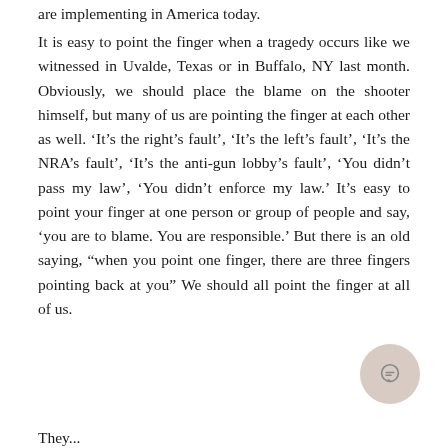are implementing in America today.
It is easy to point the finger when a tragedy occurs like we witnessed in Uvalde, Texas or in Buffalo, NY last month. Obviously, we should place the blame on the shooter himself, but many of us are pointing the finger at each other as well. ‘It’s the right’s fault’, ‘It’s the left’s fault’, ‘It’s the NRA’s fault’, ‘It’s the anti-gun lobby’s fault’, ‘You didn’t pass my law’, ‘You didn’t enforce my law.’ It’s easy to point your finger at one person or group of people and say, ‘you are to blame. You are responsible.’ But there is an old saying, “when you point one finger, there are three fingers pointing back at you” We should all point the finger at all of us.
They...